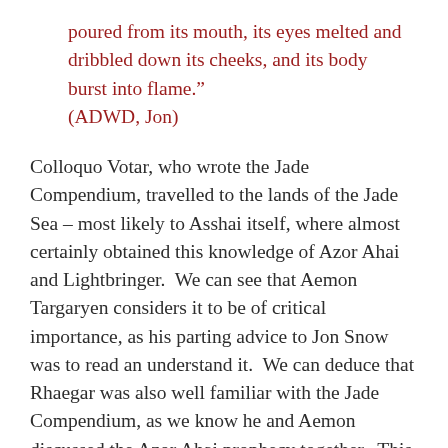poured from its mouth, its eyes melted and dribbled down its cheeks, and its body burst into flame." (ADWD, Jon)
Colloquo Votar, who wrote the Jade Compendium, travelled to the lands of the Jade Sea – most likely to Asshai itself, where almost certainly obtained this knowledge of Azor Ahai and Lightbringer.  We can see that Aemon Targaryen considers it to be of critical importance, as his parting advice to Jon Snow was to read an understand it.  We can deduce that Rhaegar was also well familiar with the Jade Compendium, as we know he and Aemon discussed the Azor Ahai prophecy together.  This is also a clue that Aemon, at least, thinks that the Azor Ahai information is relevant to the Nights Watch, the people fighting the Others, strengthening